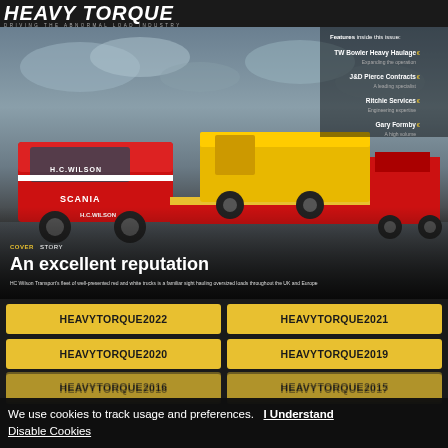HEAVY TORQUE — DRIVING THE ABNORMAL LOAD INDUSTRY
[Figure (photo): Red Scania H.C. Wilson heavy haulage truck transporting a yellow combine harvester on a low-loader trailer, with dramatic cloudy sky background. Features side panel with TW Bowler Heavy Haulage, J&D Pierce Contracts, Ritchie Services, Gary Formby listings.]
COVER STORY
An excellent reputation
HC Wilson Transport's fleet of well-presented red and white trucks is a familiar sight hauling oversized loads throughout the UK and Europe
HEAVYTORQUE2022
HEAVYTORQUE2021
HEAVYTORQUE2020
HEAVYTORQUE2019
HEAVYTORQUE2018
HEAVYTORQUE2017
HEAVYTORQUE2016
HEAVYTORQUE2015
We use cookies to track usage and preferences.   I Understand   Disable Cookies